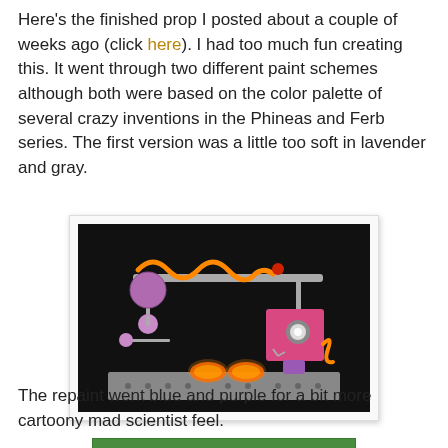Here's the finished prop I posted about a couple of weeks ago (click here). I had too much fun creating this. It went through two different paint schemes although both were based on the color palette of several crazy inventions in the Phineas and Ferb series. The first version was a little too soft in lavender and gray.
[Figure (photo): A colorful DIY prop resembling a cartoon mad-scientist machine. It has a horizontal bar at the top with orange coiled tubing, purple spheres on the left side, a pink/magenta boxy robot-like figure on the right with a circular light eye and orange coiled tubing arm, two glowing orange/red dome lights on a grey platform base, and a dark background.]
The repaint went blue and purple for a bit more cartoony mad scientist feel.
[Figure (photo): Partial view of a second version of the prop with green/teal coloring visible at the bottom of the page.]